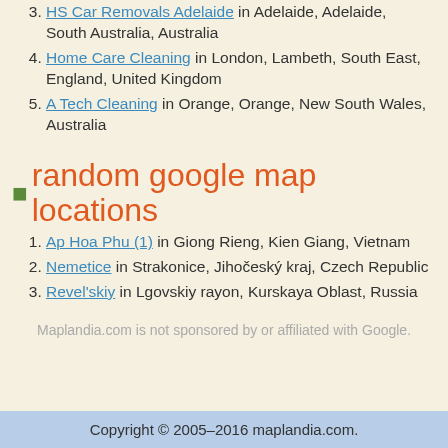3. HS Car Removals Adelaide in Adelaide, Adelaide, South Australia, Australia
4. Home Care Cleaning in London, Lambeth, South East, England, United Kingdom
5. A Tech Cleaning in Orange, Orange, New South Wales, Australia
random google map locations
1. Ap Hoa Phu (1) in Giong Rieng, Kien Giang, Vietnam
2. Nemetice in Strakonice, Jihočeský kraj, Czech Republic
3. Revel'skiy in Lgovskiy rayon, Kurskaya Oblast, Russia
Maplandia.com is not sponsored by or affiliated with Google.
Copyright © 2005–2016 maplandia.com.